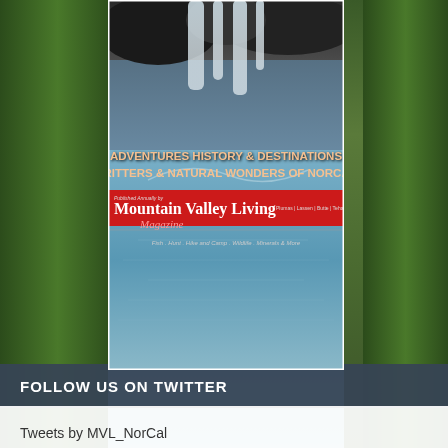[Figure (photo): Magazine cover for Mountain Valley Living Magazine showing a waterfall and blue water with text overlay: 'Adventures History & Destinations Critters & Natural Wonders of NorCal'. A red banner shows the magazine name 'Mountain Valley Living Magazine'. Set against a forest background with green trees on the sides.]
FOLLOW US ON TWITTER
Tweets by MVL_NorCal
NORTHERN CALIFORNIA NEWS